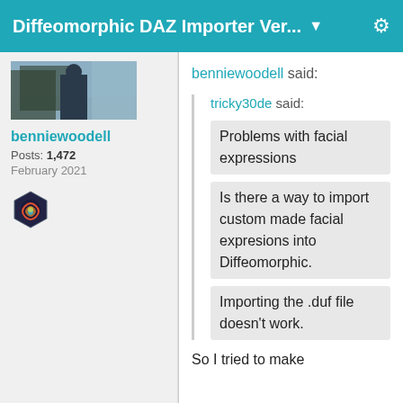Diffeomorphic DAZ Importer Ver... ▼
benniewoodell said:
benniewoodell
Posts: 1,472
February 2021
tricky30de said:
Problems with facial expressions
Is there a way to import custom made facial expresions into Diffeomorphic.
Importing the .duf file doesn't work.
So I tried to make